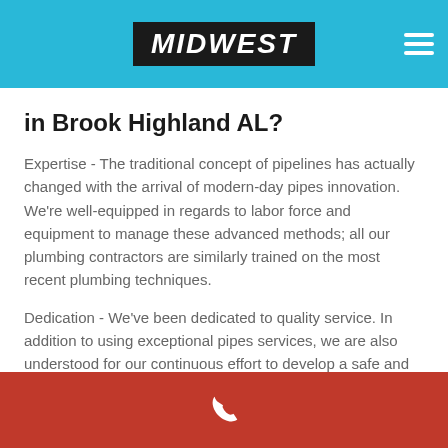MIDWEST
in Brook Highland AL?
Expertise - The traditional concept of pipelines has actually changed with the arrival of modern-day pipes innovation. We're well-equipped in regards to labor force and equipment to manage these advanced methods; all our plumbing contractors are similarly trained on the most recent plumbing techniques.
Dedication - We've been dedicated to quality service. In addition to using exceptional pipes services, we are also understood for our continuous effort to develop a safe and comfy experience for our clients.
Integrity- All our plumbing service professionals are
phone icon